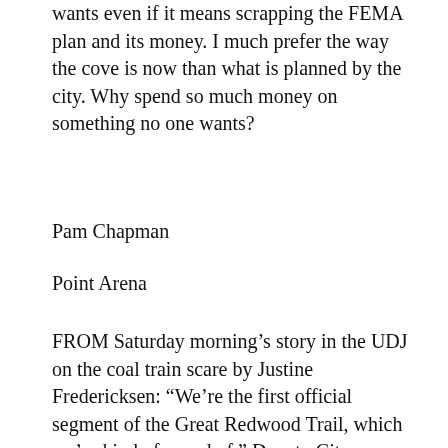wants even if it means scrapping the FEMA plan and its money. I much prefer the way the cove is now than what is planned by the city. Why spend so much money on something no one wants?
Pam Chapman
Point Arena
FROM Saturday morning's story in the UDJ on the coal train scare by Justine Fredericksen: “We’re the first official segment of the Great Redwood Trail, which we’re kind of proud of,” Deputy City Manager Shannon Riley told the City Council during its Sept. 15 meeting, referring to State Sen. Mike McGuire’s plan to turn the railroad tracks into a multi-use trail that stretches from the San Francisco Bay to Humboldt Bay.”
UKIAH'S STRETCH of the Great Redwood Trail is three